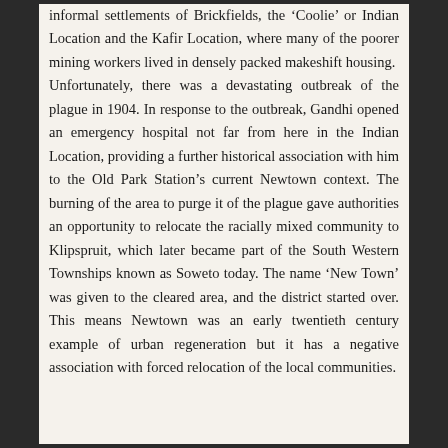informal settlements of Brickfields, the 'Coolie' or Indian Location and the Kafir Location, where many of the poorer mining workers lived in densely packed makeshift housing. Unfortunately, there was a devastating outbreak of the plague in 1904. In response to the outbreak, Gandhi opened an emergency hospital not far from here in the Indian Location, providing a further historical association with him to the Old Park Station's current Newtown context. The burning of the area to purge it of the plague gave authorities an opportunity to relocate the racially mixed community to Klipspruit, which later became part of the South Western Townships known as Soweto today. The name 'New Town' was given to the cleared area, and the district started over. This means Newtown was an early twentieth century example of urban regeneration but it has a negative association with forced relocation of the local communities.